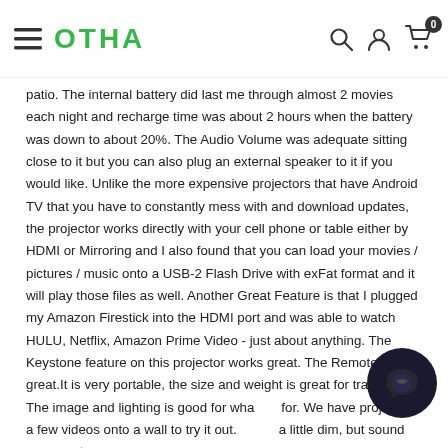OTHA [navigation header with hamburger menu, logo, search, user, and cart icons]
patio. The internal battery did last me through almost 2 movies each night and recharge time was about 2 hours when the battery was down to about 20%. The Audio Volume was adequate sitting close to it but you can also plug an external speaker to it if you would like. Unlike the more expensive projectors that have Android TV that you have to constantly mess with and download updates, the projector works directly with your cell phone or table either by HDMI or Mirroring and I also found that you can load your movies / pictures / music onto a USB-2 Flash Drive with exFat format and it will play those files as well. Another Great Feature is that I plugged my Amazon Firestick into the HDMI port and was able to watch HULU, Netflix, Amazon Prime Video - just about anything. The Keystone feature on this projector works great. The Remote works great.It is very portable, the size and weight is great for traveling. The image and lighting is good for what it's for. We have projected a few videos onto a wall to try it out. It was a little dim, but sound was great.